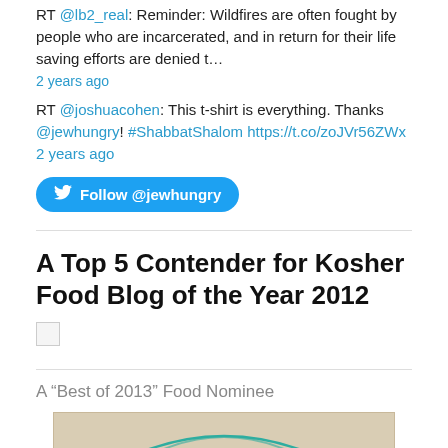RT @lb2_real: Reminder: Wildfires are often fought by people who are incarcerated, and in return for their life saving efforts are denied t…
2 years ago
RT @joshuacohen: This t-shirt is everything. Thanks @jewhungry! #ShabbatShalom https://t.co/zoJVr56ZWx 2 years ago
[Figure (other): Blue Twitter Follow @jewhungry button]
A Top 5 Contender for Kosher Food Blog of the Year 2012
[Figure (photo): Broken image placeholder]
A “Best of 2013” Food Nominee
[Figure (illustration): Cast-Iron Cooking award badge on tan/beige background with red banner]